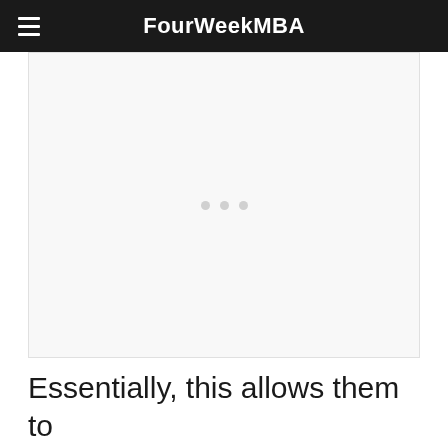FourWeekMBA
[Figure (other): Advertisement placeholder area with three light grey dots in the center indicating a loading or empty ad slot]
Essentially, this allows them to